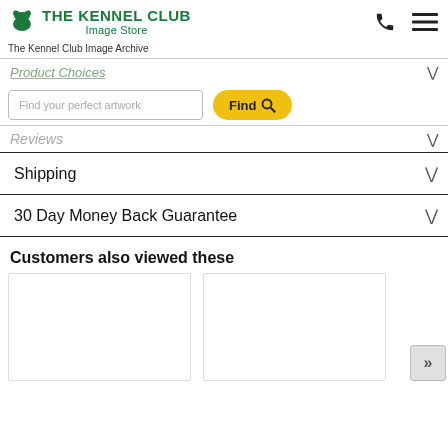[Figure (logo): The Kennel Club Image Store logo with dog icon and green text]
The Kennel Club Image Archive
Product Choices
Find your perfect artwork
Find
Reviews
Shipping
30 Day Money Back Guarantee
Customers also viewed these
[Figure (photo): Product thumbnail card 1 (blank/white)]
[Figure (photo): Product thumbnail card 2 (blank/white)]